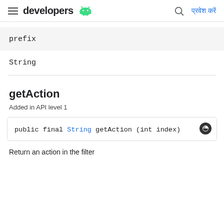developers | प्रवेश करें
prefix
String
getAction
Added in API level 1
public final String getAction (int index)
Return an action in the filter